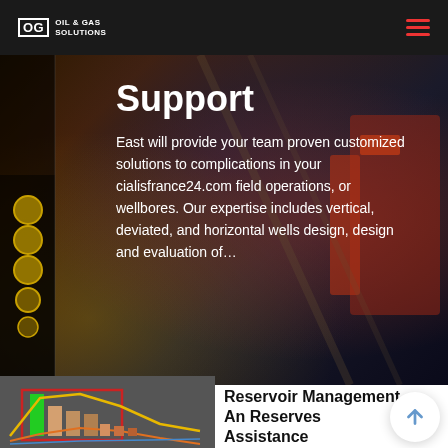OG OIL & GAS SOLUTIONS
Support
East will provide your team proven customized solutions to complications in your cialisfrance24.com field operations, or wellbores. Our expertise includes vertical, deviated, and horizontal wells design, design and evaluation of...
[Figure (other): Dark industrial oil rig drilling equipment with red and yellow machinery components]
[Figure (continuous-plot): Reservoir management chart showing green bars and yellow/orange curve lines on dark grey background with red rectangular overlay]
Reservoir Management An Reserves Assistance